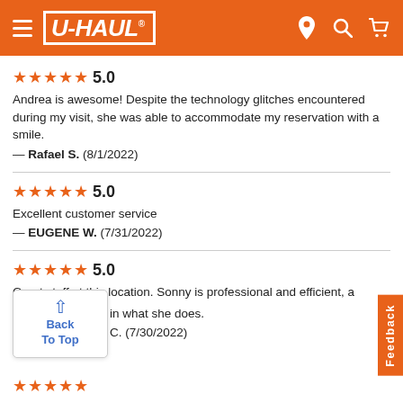U-HAUL
★★★★★ 5.0
Andrea is awesome! Despite the technology glitches encountered during my visit, she was able to accommodate my reservation with a smile.
— Rafael S. (8/1/2022)
★★★★★ 5.0
Excellent customer service
— EUGENE W. (7/31/2022)
★★★★★ 5.0
Great staff at this location. Sonny is professional and efficient, a [expert] in what she does.
— [Name] C. (7/30/2022)